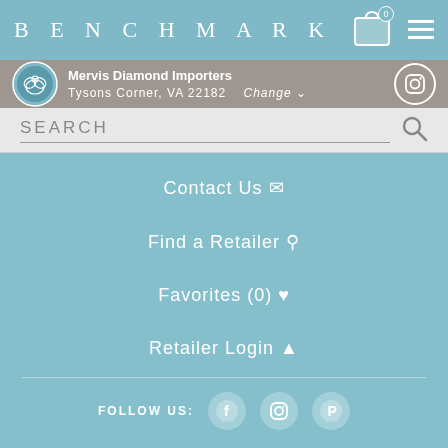BENCHMARK
Mervis Diamond Importers
Tysons Corner, VA 22182  Change
SEARCH
Contact Us
Find a Retailer
Favorites (0)
Retailer Login
FOLLOW US: